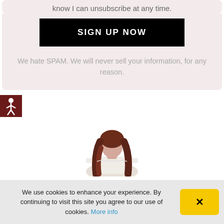know I can unsubscribe at any time.
SIGN UP NOW
We hate SPAM. We will never sell your information, for any reason.
[Figure (illustration): Accessibility icon button — dark red square with a white stick-figure person (universal accessibility symbol)]
[Figure (photo): Woman with long auburn/red hair wearing a white lace cold-shoulder top, looking down, cropped at mid-torso]
We use cookies to enhance your experience. By continuing to visit this site you agree to our use of cookies. More info